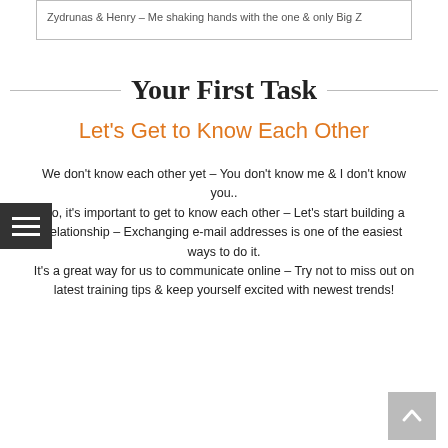Zydrunas & Henry – Me shaking hands with the one & only Big Z
Your First Task
Let's Get to Know Each Other
We don't know each other yet – You don't know me & I don't know you.. So, it's important to get to know each other – Let's start building a relationship – Exchanging e-mail addresses is one of the easiest ways to do it. It's a great way for us to communicate online – Try not to miss out on latest training tips & keep yourself excited with newest trends!